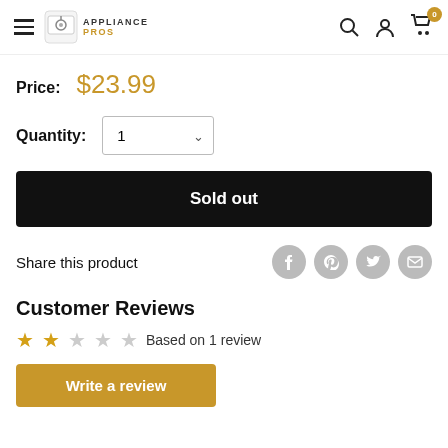Appliance Pros — navigation header with logo, search, account, and cart icons
Price: $23.99
Quantity: 1
Sold out
Share this product
Customer Reviews
Based on 1 review
Write a review